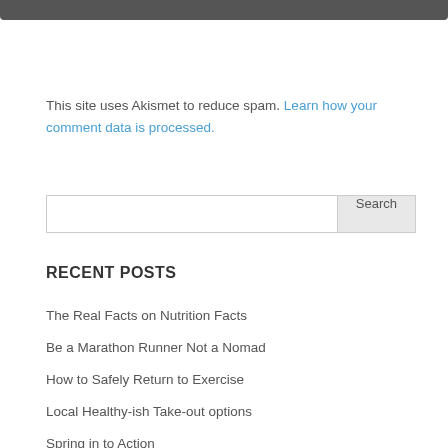This site uses Akismet to reduce spam. Learn how your comment data is processed.
Search
RECENT POSTS
The Real Facts on Nutrition Facts
Be a Marathon Runner Not a Nomad
How to Safely Return to Exercise
Local Healthy-ish Take-out options
Spring in to Action